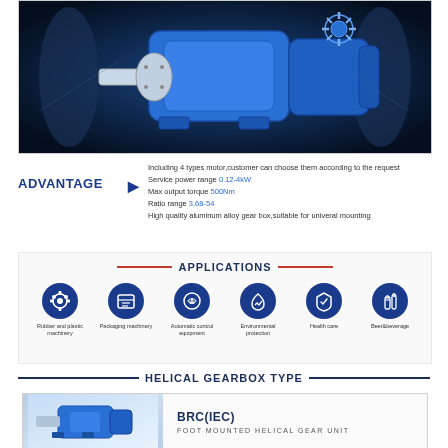[Figure (photo): Blue helical gearbox/gear reducer product photo on dark blue gradient background with industrial pipes]
ADVANTAGE
Including 4 types motor,customer can choose them according to the request
Service power range 0.12-4kW
Max output torque 500Nm
Ratio range 3.68-54
High quality aluminum alloy gear box,suitable for univeral mounting
APPLICATIONS
[Figure (infographic): Six application icons in dark blue circles: Rubber and plastic machinery, Packaging machinery, Automatic control equipment, Environmental protection, Health care, Beer&beverage]
HELICAL GEARBOX TYPE
[Figure (photo): Blue helical gearbox unit product photo]
BRC(IEC)
FOOT MOUNTED HELICAL GEAR UNIT